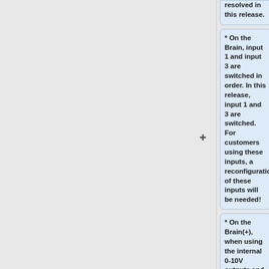resolved in this release.
* On the Brain, input 1 and input 3 are switched in order. In this release, input 1 and 3 are switched. For customers using these inputs, a reconfiguration of these inputs will be needed!
* On the Brain(+), when using the internal 0-10V outputs and the 1 button